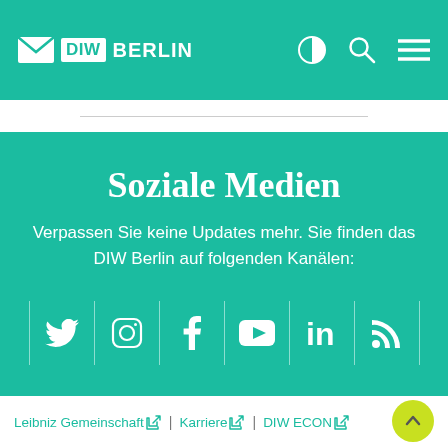DIW BERLIN
Soziale Medien
Verpassen Sie keine Updates mehr. Sie finden das DIW Berlin auf folgenden Kanälen:
[Figure (infographic): Row of six social media icons (Twitter, Instagram, Facebook, YouTube, LinkedIn, RSS) separated by vertical lines on teal background]
Leibniz Gemeinschaft | Karriere | DIW ECON